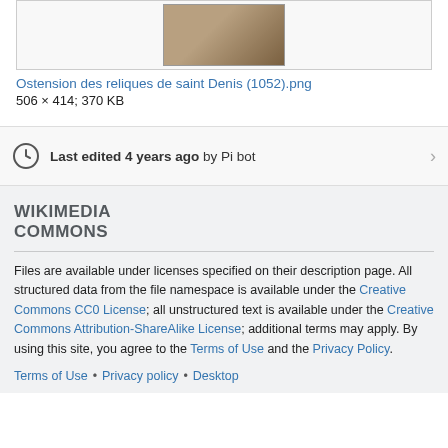[Figure (photo): Thumbnail image from Wikimedia Commons showing a medieval illustration related to saint Denis relics]
Ostension des reliques de saint Denis (1052).png
506 × 414; 370 KB
Last edited 4 years ago by Pi bot
WIKIMEDIA COMMONS
Files are available under licenses specified on their description page. All structured data from the file namespace is available under the Creative Commons CC0 License; all unstructured text is available under the Creative Commons Attribution-ShareAlike License; additional terms may apply. By using this site, you agree to the Terms of Use and the Privacy Policy.
Terms of Use • Privacy policy • Desktop